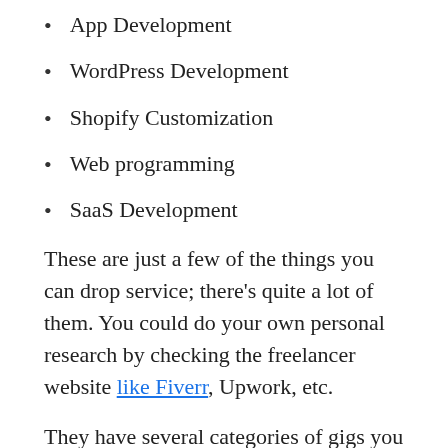App Development
WordPress Development
Shopify Customization
Web programming
SaaS Development
These are just a few of the things you can drop service; there's quite a lot of them. You could do your own personal research by checking the freelancer website like Fiverr, Upwork, etc.
They have several categories of gigs you can explore and you can basically sell any of the services to your clients.